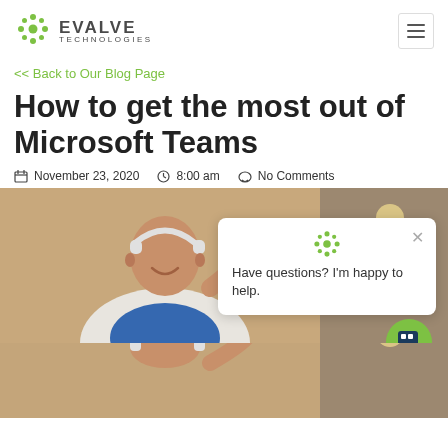EVALVE TECHNOLOGIES
<< Back to Our Blog Page
How to get the most out of Microsoft Teams
November 23, 2020   8:00 am   No Comments
[Figure (photo): Man wearing headphones and smiling, waving at camera, with chat popup overlay saying 'Have questions? I'm happy to help.']
[Figure (photo): Same man wearing headphones, partial view at bottom of page]